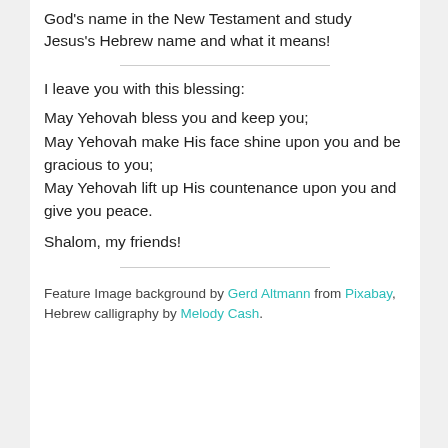God's name in the New Testament and study Jesus's Hebrew name and what it means!
I leave you with this blessing:
May Yehovah bless you and keep you;
May Yehovah make His face shine upon you and be gracious to you;
May Yehovah lift up His countenance upon you and give you peace.
Shalom, my friends!
Feature Image background by Gerd Altmann from Pixabay, Hebrew calligraphy by Melody Cash.